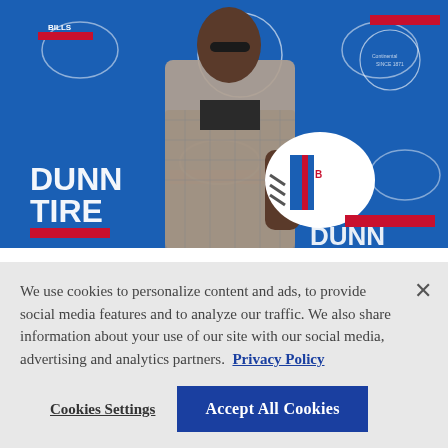[Figure (photo): A man in a plaid blazer holding a Buffalo Bills white helmet, standing in front of a blue Buffalo Bills branded backdrop with sponsor logos including DUNN TIRE and Continental Tires.]
Bills draft Georgia RB Cook, Baylor LB Bernard; Elam arrives
We use cookies to personalize content and ads, to provide social media features and to analyze our traffic. We also share information about your use of our site with our social media, advertising and analytics partners. Privacy Policy
Cookies Settings | Accept All Cookies